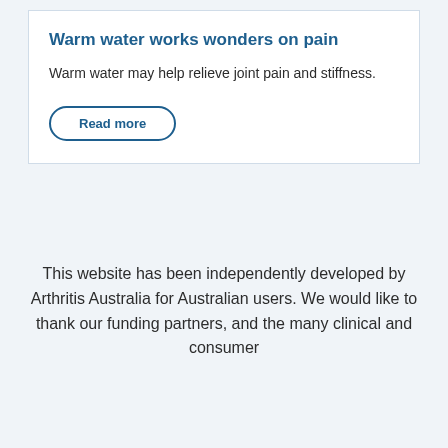Warm water works wonders on pain
Warm water may help relieve joint pain and stiffness.
Read more
This website has been independently developed by Arthritis Australia for Australian users. We would like to thank our funding partners, and the many clinical and consumer